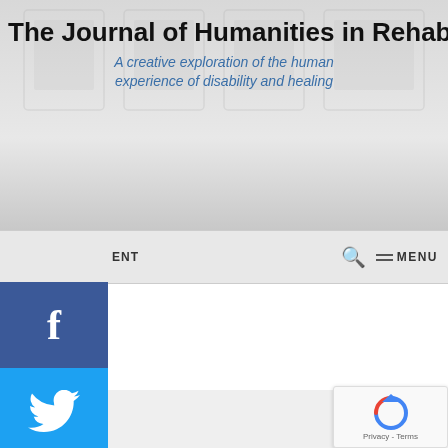The Journal of Humanities in Rehabilitation
A creative exploration of the human experience of disability and healing
ENT   MENU
[Figure (screenshot): Social media share buttons sidebar: Facebook (blue), Twitter (light blue), Email (slate blue)]
Call for Papers and Instructions to Submit
Contents
Instructions to Submit:
About the
The Journal of Humanities in Rehabilitation is an